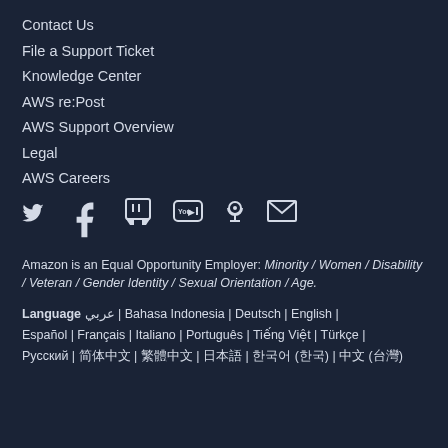Contact Us
File a Support Ticket
Knowledge Center
AWS re:Post
AWS Support Overview
Legal
AWS Careers
[Figure (infographic): Social media icons: Twitter, Facebook, Twitch, YouTube, Podcast, Email]
Amazon is an Equal Opportunity Employer: Minority / Women / Disability / Veteran / Gender Identity / Sexual Orientation / Age.
Language عربي | Bahasa Indonesia | Deutsch | English | Español | Français | Italiano | Português | Tiếng Việt | Türkçe | Русский | 简体中文 | 繁體中文 | 日本語 | 한국어 (한국) | 中文 (台灣)